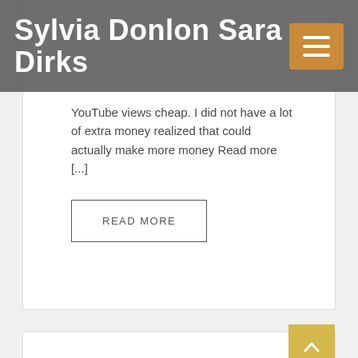Sylvia Donlon Sara Dirks
YouTube views cheap. I did not have a lot of extra money realized that could actually make more money Read more [...]
READ MORE
We’re Having Fun with Fast Speed Now
No Comments / Nov, 13, 2015 / / posts